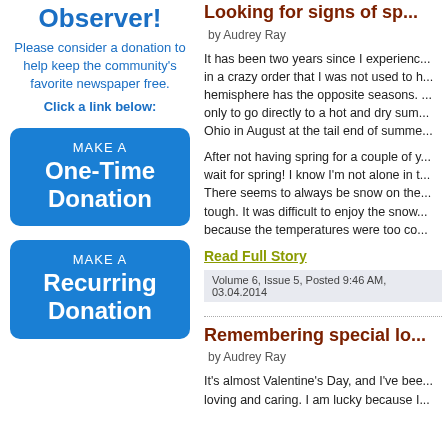Observer!
Please consider a donation to help keep the community's favorite newspaper free.
Click a link below:
[Figure (other): Blue rounded button: MAKE A One-Time Donation]
[Figure (other): Blue rounded button: MAKE A Recurring Donation]
Looking for signs of sp...
by Audrey Ray
It has been two years since I experienc... in a crazy order that I was not used to h... hemisphere has the opposite seasons. ... only to go directly to a hot and dry sum... Ohio in August at the tail end of summe...
After not having spring for a couple of y... wait for spring! I know I'm not alone in t... There seems to always be snow on the... tough. It was difficult to enjoy the snow... because the temperatures were too co...
Read Full Story
Volume 6, Issue 5, Posted 9:46 AM, 03.04.2014
Remembering special lo...
by Audrey Ray
It's almost Valentine's Day, and I've bee... loving and caring. I am lucky because I...